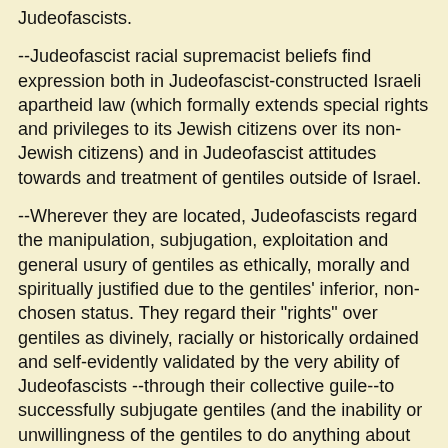Judeofascists.
--Judeofascist racial supremacist beliefs find expression both in Judeofascist-constructed Israeli apartheid law (which formally extends special rights and privileges to its Jewish citizens over its non-Jewish citizens) and in Judeofascist attitudes towards and treatment of gentiles outside of Israel.
--Wherever they are located, Judeofascists regard the manipulation, subjugation, exploitation and general usury of gentiles as ethically, morally and spiritually justified due to the gentiles' inferior, non-chosen status. They regard their "rights" over gentiles as divinely, racially or historically ordained and self-evidently validated by the very ability of Judeofascists --through their collective guile--to successfully subjugate gentiles (and the inability or unwillingness of the gentiles to do anything about it). Judeofascists see Israel's ongoing ability to flout gentile international law without consequence as further evidence of Judeofascist supremacy.
--Judeofascism has no membership roles, political charter or political headquarters. However, as with any network of like-